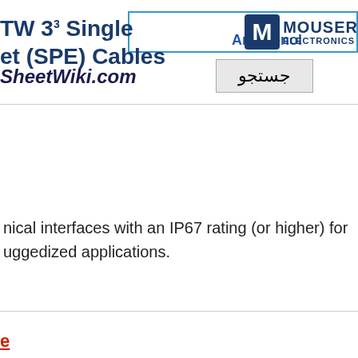[Figure (screenshot): Search input box with blue border]
[Figure (other): Search button with Arabic text 'جستجو']
SheetWiki.com
TW 3³ Single et (SPE) Cables
Amphenol
[Figure (logo): Mouser Electronics logo with M icon]
nical interfaces with an IP67 rating (or higher) for uggedized applications.
e